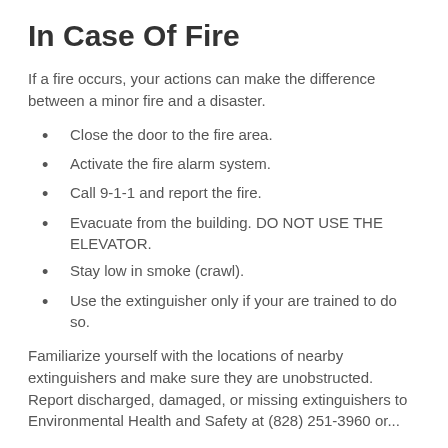In Case Of Fire
If a fire occurs, your actions can make the difference between a minor fire and a disaster.
Close the door to the fire area.
Activate the fire alarm system.
Call 9-1-1 and report the fire.
Evacuate from the building. DO NOT USE THE ELEVATOR.
Stay low in smoke (crawl).
Use the extinguisher only if your are trained to do so.
Familiarize yourself with the locations of nearby extinguishers and make sure they are unobstructed. Report discharged, damaged, or missing extinguishers to Environmental Health and Safety at (828) 251-3960 or...